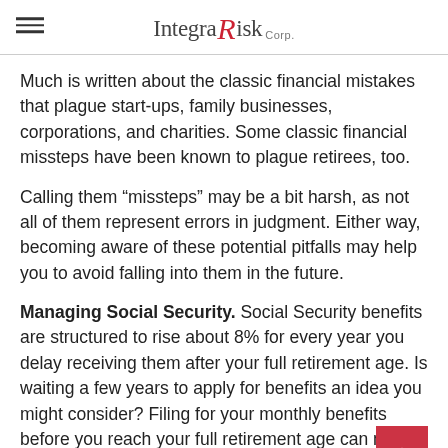Integra Risk Corp.
Much is written about the classic financial mistakes that plague start-ups, family businesses, corporations, and charities. Some classic financial missteps have been known to plague retirees, too.
Calling them “missteps” may be a bit harsh, as not all of them represent errors in judgment. Either way, becoming aware of these potential pitfalls may help you to avoid falling into them in the future.
Managing Social Security. Social Security benefits are structured to rise about 8% for every year you delay receiving them after your full retirement age. Is waiting a few years to apply for benefits an idea you might consider? Filing for your monthly benefits before you reach your full retirement age can mean comparatively